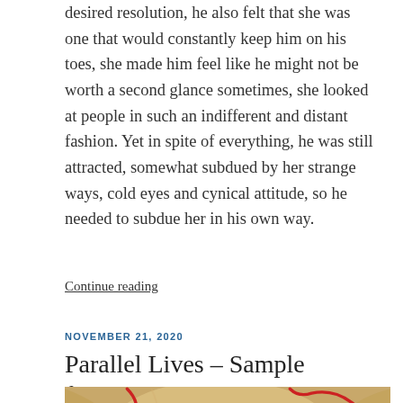desired resolution, he also felt that she was one that would constantly keep him on his toes, she made him feel like he might not be worth a second glance sometimes, she looked at people in such an indifferent and distant fashion. Yet in spite of everything, he was still attracted, somewhat subdued by her strange ways, cold eyes and cynical attitude, so he needed to subdue her in his own way.
Continue reading
NOVEMBER 21, 2020
Parallel Lives – Sample fragment 31
[Figure (photo): A warm-toned abstract photo with red curving lines or ribbon on a light beige/golden background, with a dark silhouette visible at the bottom.]